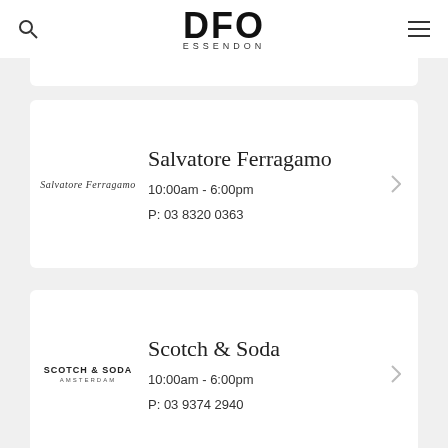DFO ESSENDON
Salvatore Ferragamo
10:00am - 6:00pm
P: 03 8320 0363
Scotch & Soda
10:00am - 6:00pm
P: 03 9374 2940